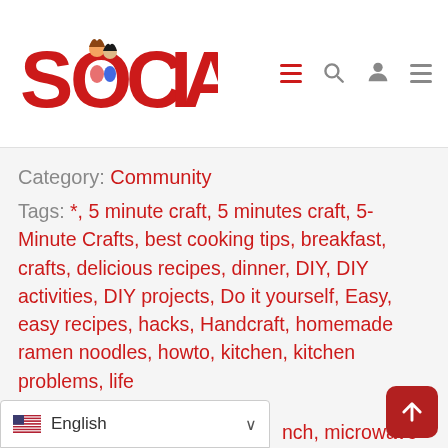[Figure (logo): SocialMe logo with cartoon figures and navigation icons (hamburger menu, search, user, hamburger menu)]
Category: Community
Tags: *, 5 minute craft, 5 minutes craft, 5-Minute Crafts, best cooking tips, breakfast, crafts, delicious recipes, dinner, DIY, DIY activities, DIY projects, Do it yourself, Easy, easy recipes, hacks, Handcraft, homemade ramen noodles, howto, kitchen, kitchen problems, life ...nch, microwave